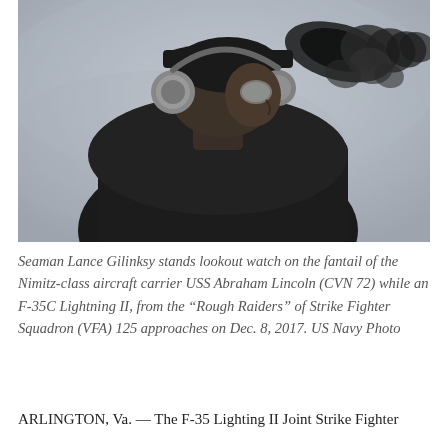[Figure (photo): A person wearing a dark cap and ear protection (hearing muffs) stands on the fantail of a naval aircraft carrier, looking up toward the sky. The background shows a gray overcast sky and a dark silhouette of an aircraft approaching from the upper right.]
Seaman Lance Gilinksy stands lookout watch on the fantail of the Nimitz-class aircraft carrier USS Abraham Lincoln (CVN 72) while an F-35C Lightning II, from the "Rough Raiders" of Strike Fighter Squadron (VFA) 125 approaches on Dec. 8, 2017. US Navy Photo
ARLINGTON, Va. — The F-35 Lighting II Joint Strike Fighter